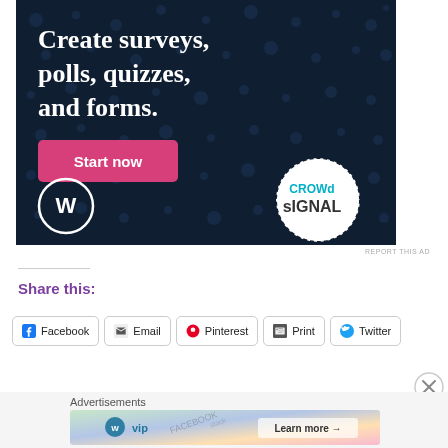[Figure (infographic): Crowdsignal ad banner: dark navy background with dot pattern, text 'Create surveys, polls, quizzes, and forms.', pink 'Start now' button, WordPress logo bottom left, Crowdsignal circular badge bottom right]
REPORT THIS AD
Share this:
Facebook
Email
Pinterest
Print
Twitter
Advertisements
[Figure (infographic): WordPress VIP advertisement banner with colorful background and 'Learn more' button with arrow]